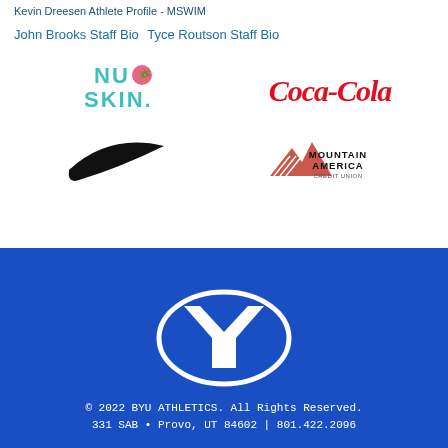Kevin Dreesen Athlete Profile - MSWIM
John Brooks Staff Bio Tyce Routson Staff Bio
[Figure (logo): Nu Skin logo - teal text with pink palm tree icon]
[Figure (logo): Coca-Cola logo in red script]
[Figure (logo): Nike swoosh logo in black]
[Figure (logo): Mountain America Credit Union logo]
[Figure (logo): BYU athletics Y logo - white Y in blue oval]
© 2022 BYU ATHLETICS. All Rights Reserved.
331 SAB • Provo, UT 84602 | 801.422.2096